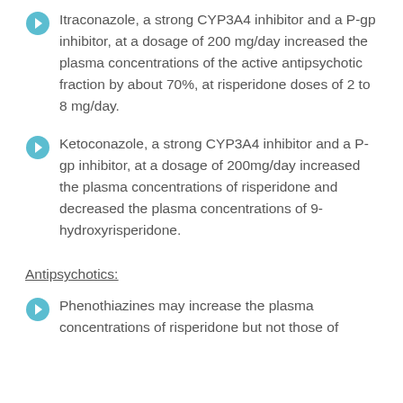Itraconazole, a strong CYP3A4 inhibitor and a P-gp inhibitor, at a dosage of 200 mg/day increased the plasma concentrations of the active antipsychotic fraction by about 70%, at risperidone doses of 2 to 8 mg/day.
Ketoconazole, a strong CYP3A4 inhibitor and a P-gp inhibitor, at a dosage of 200mg/day increased the plasma concentrations of risperidone and decreased the plasma concentrations of 9-hydroxyrisperidone.
Antipsychotics:
Phenothiazines may increase the plasma concentrations of risperidone but not those of